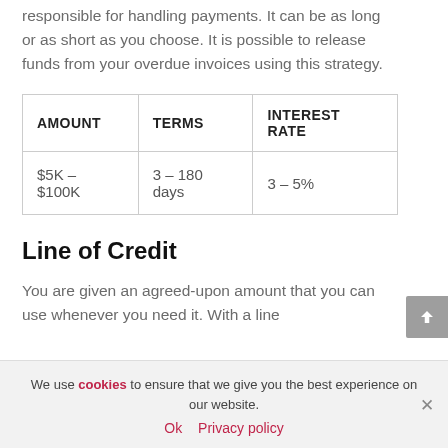responsible for handling payments. It can be as long or as short as you choose. It is possible to release funds from your overdue invoices using this strategy.
| AMOUNT | TERMS | INTEREST RATE |
| --- | --- | --- |
| $5K – $100K | 3 – 180 days | 3 – 5% |
Line of Credit
You are given an agreed-upon amount that you can use whenever you need it. With a line
We use cookies to ensure that we give you the best experience on our website.
Ok   Privacy policy